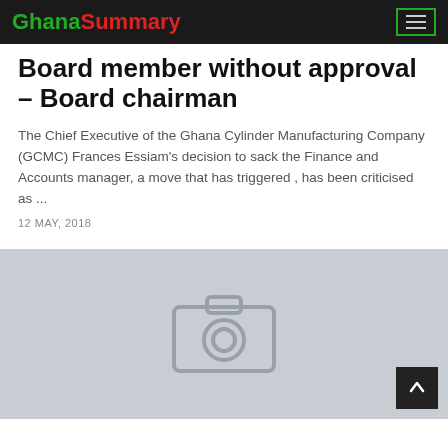GhanaSummary
Board member without approval – Board chairman
The Chief Executive of the Ghana Cylinder Manufacturing Company (GCMC) Frances Essiam's decision to sack the Finance and Accounts manager, a move that has triggered , has been criticised as ...
12 MAY, 2018
[Figure (photo): Image placeholder with camera icon on grey background, with a scroll-to-top button in the lower right corner.]